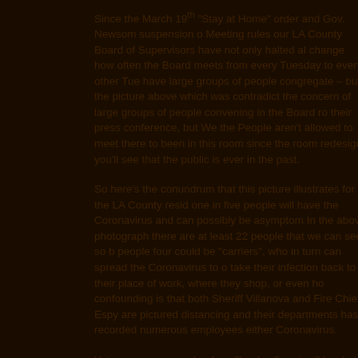Since the March 19th "Stay at Home" order and Gov. Newsom suspension of Open Meeting rules our LA County Board of Supervisors have not only halted all... change how often the Board meets from every Tuesday to every other Tuesday to have large groups of people congregate – but the picture above which was... contradict the concern of large groups of people convening in the Board room for their press conference, but We the People aren't allowed to meet there to... been in this room since the room redesign you'll see that the public is ever... in the past.
So here's the conundrum that this picture illustrates for the LA County resi... one in five people will have the Coronavirus and can possibly be asymptom... In the above photograph there are at least 22 people that we can see, so b... people four could be "carriers", who in turn can spread the Coronavirus to o... take their infection back to their place of work, where they shop, or even h... confounding is that both Sheriff Villanova and Fire Chief Espy are pictured... distancing and their departments has recorded numerous employees either... Coronavirus.
Yet one more example of our "leaders" saying "do what I say, not what I do... office sets up a snitch line so folks can report non-essential business that a...